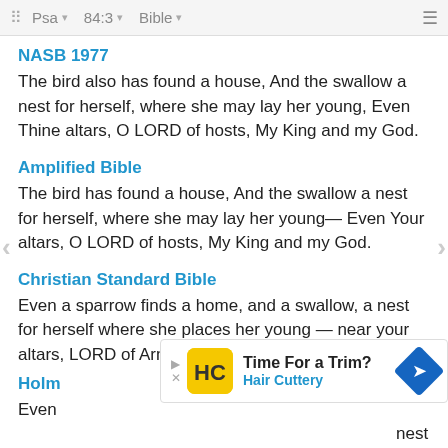Psa  84:3  Bible
NASB 1977
The bird also has found a house, And the swallow a nest for herself, where she may lay her young, Even Thine altars, O LORD of hosts, My King and my God.
Amplified Bible
The bird has found a house, And the swallow a nest for herself, where she may lay her young— Even Your altars, O LORD of hosts, My King and my God.
Christian Standard Bible
Even a sparrow finds a home, and a swallow, a nest for herself where she places her young — near your altars, LORD of Armies, my King and my God
Holm
Even                                                                               nest
[Figure (screenshot): Advertisement banner: Time For a Trim? Hair Cuttery with logo and navigation arrow icon]